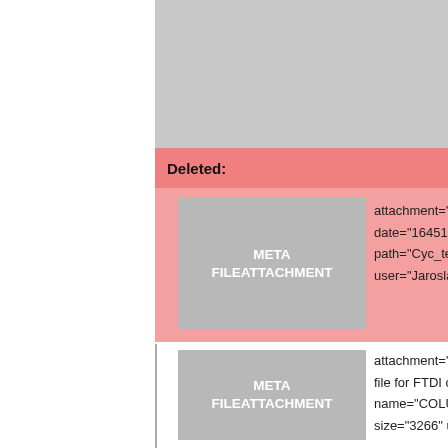[Figure (screenshot): Continuation of a diff/comparison table showing META FILEATTACHMENT entries. Top section shows a gray cell with text: name=COLUTAV4_precom... path=COLUTAV4_precom... size=1381224 user=Jaro...]
Deleted:
|  | META FILEATTACHMENT | Attributes |
| --- | --- | --- |
| < | META FILEATTACHMENT | attachment="Cyc_tester_f... date="1645186310" name=... path="Cyc_tester_fpga.zip... user="JaroslavBan" versio... |
|  | META FILEATTACHMENT | attachment="COLUTA65V4... file for FTDI chip configura... name="COLUTA65V4.xml"... size="3266" user="BrianKi... |
|  | META FILEATTACHMENT | attachment="CV4_cyclone... comment="" date="164579... name="CV4_cyclone_BGA... path="CV4_cyclone_BGA_... size="65169138" user="Ja... |